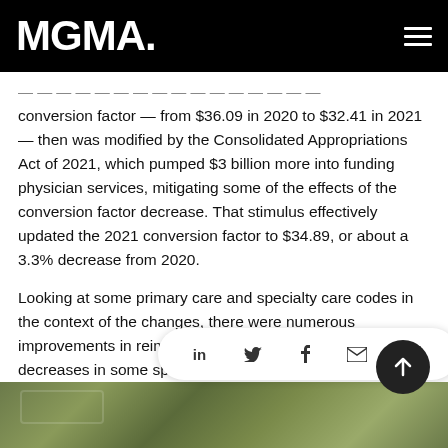MGMA
conversion factor — from $36.09 in 2020 to $32.41 in 2021 — then was modified by the Consolidated Appropriations Act of 2021, which pumped $3 billion more into funding physician services, mitigating some of the effects of the conversion factor decrease. That stimulus effectively updated the 2021 conversion factor to $34.89, or about a 3.3% decrease from 2020.
Looking at some primary care and specialty care codes in the context of the changes, there were numerous improvements in reimbursement for primary care codes and decreases in some specialty codes with the adjustments to the RVU values in the PFS final rule and the stimulus' impact on the conversion facto…
[Figure (photo): Bottom strip showing a close-up of US currency (green dollar bill texture)]